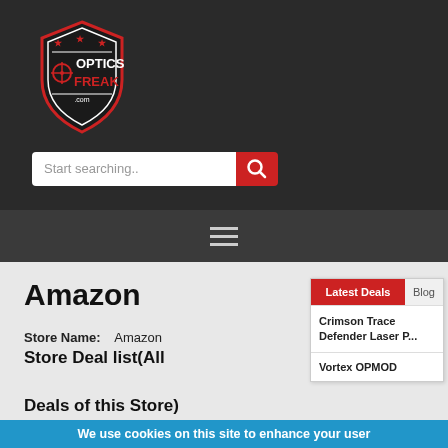[Figure (logo): Optics Freak .com logo — red and white shield badge with crosshair, stars, and stylized text]
[Figure (screenshot): Search bar with placeholder text 'Start searching..' and red search button with magnifying glass icon]
[Figure (screenshot): Dark nav bar with hamburger menu icon (three white lines)]
Amazon
Store Name:    Amazon
Store Deal list(All Deals of this Store)
[Figure (screenshot): Side panel with Latest Deals and Blog tabs. Latest Deals tab is active (red). Items: Crimson Trace Defender Laser P..., Vortex OPMOD]
We use cookies on this site to enhance your user